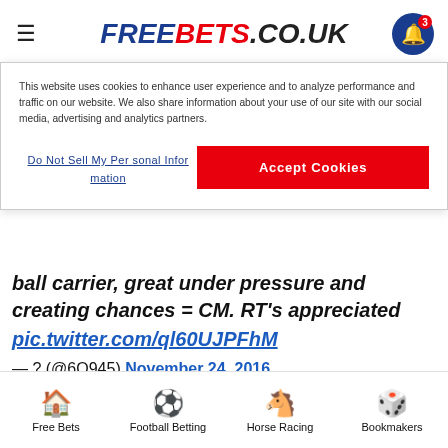FREEBETS.CO.UK
This website uses cookies to enhance user experience and to analyze performance and traffic on our website. We also share information about your use of our site with our social media, advertising and analytics partners.
Do Not Sell My Personal Information | Accept Cookies
ball carrier, great under pressure and creating chances = CM. RT's appreciated pic.twitter.com/ql60UJPFhM
— ? (@6O945) November 24, 2016
Asked about Wilshere's future on Friday, Arsene Wenger revealed that Arsenal will offer the 24-year-old
Free Bets | Football Betting | Horse Racing | Bookmakers